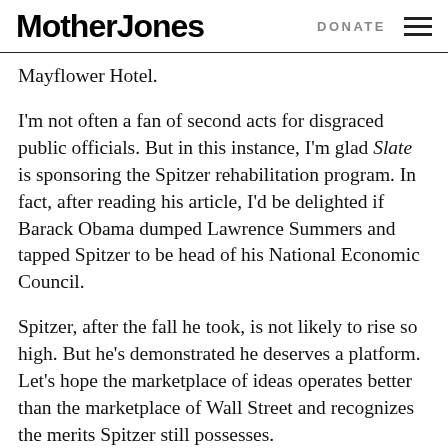Mother Jones | DONATE
Mayflower Hotel.
I'm not often a fan of second acts for disgraced public officials. But in this instance, I'm glad Slate is sponsoring the Spitzer rehabilitation program. In fact, after reading his article, I'd be delighted if Barack Obama dumped Lawrence Summers and tapped Spitzer to be head of his National Economic Council.
Spitzer, after the fall he took, is not likely to rise so high. But he's demonstrated he deserves a platform. Let's hope the marketplace of ideas operates better than the marketplace of Wall Street and recognizes the merits Spitzer still possesses.